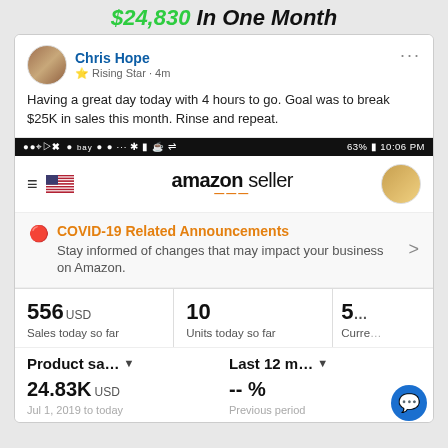$24,830 In One Month
[Figure (screenshot): Screenshot of a Facebook post by Chris Hope (Rising Star, 4m) saying 'Having a great day today with 4 hours to go. Goal was to break $25K in sales this month. Rinse and repeat.' followed by an Amazon Seller app screenshot showing COVID-19 Related Announcements banner, stats: 556 USD Sales today so far, 10 Units today so far, and product sales data showing 24.83K USD for Last 12 months.]